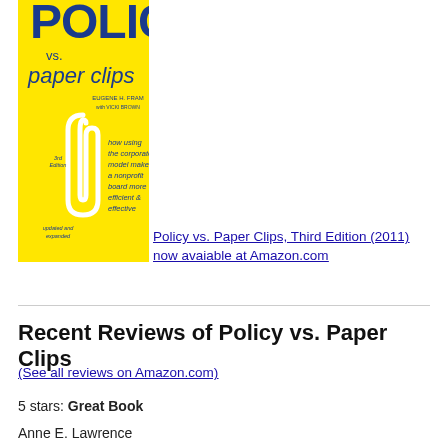[Figure (illustration): Book cover of 'Policy vs. Paper Clips, Third Edition' by Eugene H. Fram with Vicki Brown. Yellow cover with a paper clip illustration. Subtitle: 'how using the corporate model makes a nonprofit board more efficient & effective'. Marked 3rd Edition, updated and expanded.]
Policy vs. Paper Clips, Third Edition (2011) now avaiable at Amazon.com
Recent Reviews of Policy vs. Paper Clips
(See all reviews on Amazon.com)
5 stars: Great Book
Anne E. Lawrence